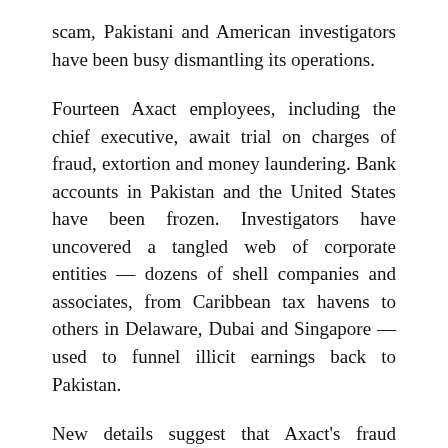scam, Pakistani and American investigators have been busy dismantling its operations.
Fourteen Axact employees, including the chief executive, await trial on charges of fraud, extortion and money laundering. Bank accounts in Pakistan and the United States have been frozen. Investigators have uncovered a tangled web of corporate entities — dozens of shell companies and associates, from Caribbean tax havens to others in Delaware, Dubai and Singapore — used to funnel illicit earnings back to Pakistan.
New details suggest that Axact's fraud empire, already considered one of the biggest Internet scams on record, is bigger than initially imagined. Over the past decade, Axact took money from at least 215,000 people in 197 countries — one-third